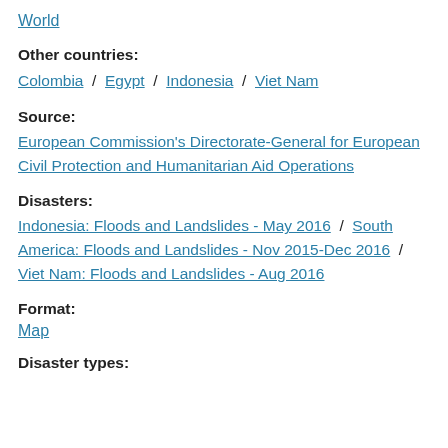World
Other countries:
Colombia / Egypt / Indonesia / Viet Nam
Source:
European Commission's Directorate-General for European Civil Protection and Humanitarian Aid Operations
Disasters:
Indonesia: Floods and Landslides - May 2016 / South America: Floods and Landslides - Nov 2015-Dec 2016 / Viet Nam: Floods and Landslides - Aug 2016
Format:
Map
Disaster types: